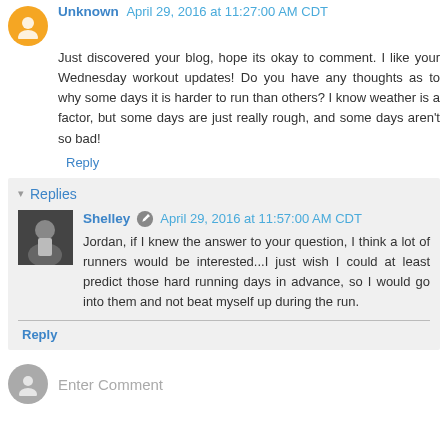Unknown April 29, 2016 at 11:27:00 AM CDT
Just discovered your blog, hope its okay to comment. I like your Wednesday workout updates! Do you have any thoughts as to why some days it is harder to run than others? I know weather is a factor, but some days are just really rough, and some days aren't so bad!
Reply
Replies
Shelley April 29, 2016 at 11:57:00 AM CDT
Jordan, if I knew the answer to your question, I think a lot of runners would be interested...I just wish I could at least predict those hard running days in advance, so I would go into them and not beat myself up during the run.
Reply
Enter Comment